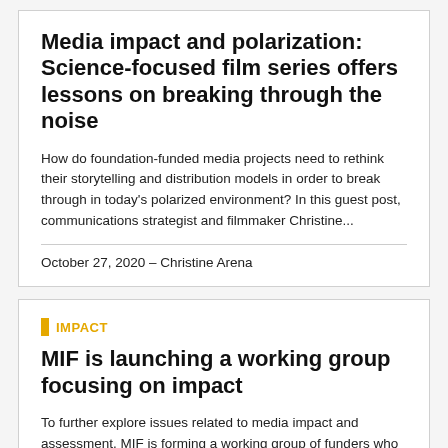Media impact and polarization: Science-focused film series offers lessons on breaking through the noise
How do foundation-funded media projects need to rethink their storytelling and distribution models in order to break through in today's polarized environment? In this guest post, communications strategist and filmmaker Christine...
October 27, 2020 – Christine Arena
IMPACT
MIF is launching a working group focusing on impact
To further explore issues related to media impact and assessment, MIF is forming a working group of funders who want to strengthen the field of practice. Here's a bit of background on how we arrived at that decision: MIF...